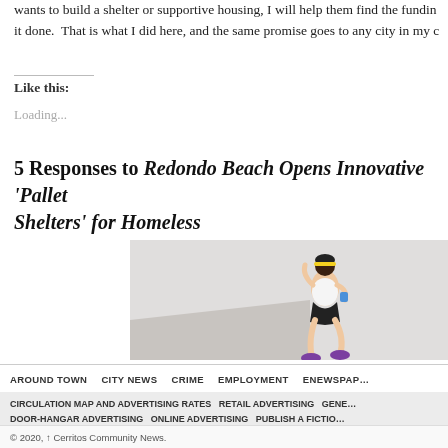wants to build a shelter or supportive housing, I will help them find the funding to get it done. That is what I did here, and the same promise goes to any city in my c…
Like this:
Loading...
5 Responses to Redondo Beach Opens Innovative 'Pallet Shelters' for Homeless
[Figure (photo): A woman running or jogging, wearing a white tank top and black shorts, photographed against a light background.]
AROUND TOWN   CITY NEWS   CRIME   EMPLOYMENT   ENEWSPAP…
CIRCULATION MAP AND ADVERTISING RATES   RETAIL ADVERTISING   GENE…   DOOR-HANGAR ADVERTISING   ONLINE ADVERTISING   PUBLISH A FICTIO…
© 2020, ↑ Cerritos Community News.